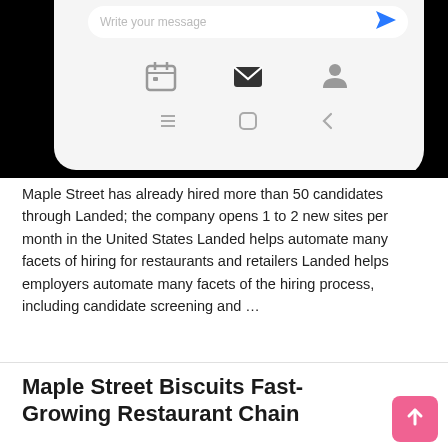[Figure (screenshot): Bottom portion of a smartphone screen showing a message input bar with 'Write your message' placeholder text, a blue send arrow, calendar/email/contact icons, and Android navigation bar icons (back, home, recent apps) on a light gray background, with the phone's black bezel visible around the edges.]
Maple Street has already hired more than 50 candidates through Landed; the company opens 1 to 2 new sites per month in the United States Landed helps automate many facets of hiring for restaurants and retailers Landed helps employers automate many facets of the hiring process, including candidate screening and …
Read More »
Maple Street Biscuits Fast-Growing Restaurant Chain